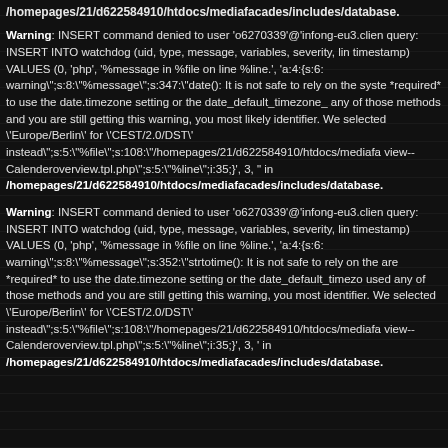/homepages/21/d622584910/htdocs/mediafacades/includes/database.
Warning: INSERT command denied to user 'o6270339'@'infong-eu3.clien query: INSERT INTO watchdog (uid, type, message, variables, severity, lin timestamp) VALUES (0, 'php', '%message in %file on line %line.', 'a:4:{s:6: warning";s:8:"%message";s:347:"date(): It is not safe to rely on the syste *required* to use the date.timezone setting or the date_default_timezone_ any of those methods and you are still getting this warning, you most likely identifier. We selected \'Europe/Berlin\' for \'CEST/2.0/DST\' instead";s:5:"%file";s:108:"/homepages/21/d622584910/htdocs/mediafa view--Calenderoverview.tpl.php";s:5:"%line";i:35;}', 3, ' in /homepages/21/d622584910/htdocs/mediafacades/includes/database.
Warning: INSERT command denied to user 'o6270339'@'infong-eu3.clien query: INSERT INTO watchdog (uid, type, message, variables, severity, lin timestamp) VALUES (0, 'php', '%message in %file on line %line.', 'a:4:{s:6: warning";s:8:"%message";s:352:"strtotime(): It is not safe to rely on the are *required* to use the date.timezone setting or the date_default_timezo used any of those methods and you are still getting this warning, you most identifier. We selected \'Europe/Berlin\' for \'CEST/2.0/DST\' instead";s:5:"%file";s:108:"/homepages/21/d622584910/htdocs/mediafa view--Calenderoverview.tpl.php";s:5:"%line";i:35;}', 3, ' in /homepages/21/d622584910/htdocs/mediafacades/includes/database.